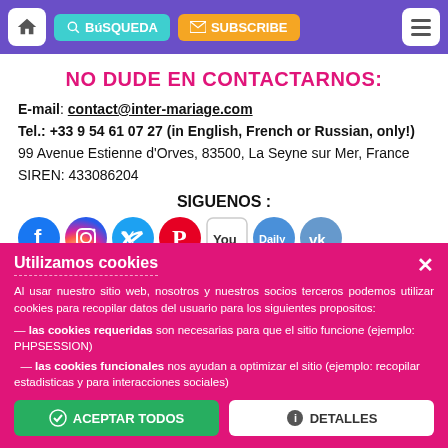BúSQUEDA | SUBSCRIBE
NO DUDE EN CONTACTARNOS:
E-mail: contact@inter-mariage.com
Tel.: +33 9 54 61 07 27 (in English, French or Russian, only!)
99 Avenue Estienne d'Orves, 83500, La Seyne sur Mer, France
SIREN: 433086204
SIGUENOS :
[Figure (infographic): Social media icons row: Facebook, Instagram, Twitter, Pinterest, YouTube, Daily, VK]
Utilizamos cookies
Al usar nuestro sitio web, nosotros y nuestros socios terceros podemos utilizar cookies para recopilar datos del usuario para los siguientes propositos:
— las cookies requeridas son necesarias para que el sitio funcione (ejemplo: PHPSESSION)
— las cookies funcionales nos ayudan a optimizar el sitio (ejemplo: recopilar estadisticas y para interacciones sociales)
ACEPTAR TODOS | DETALLES